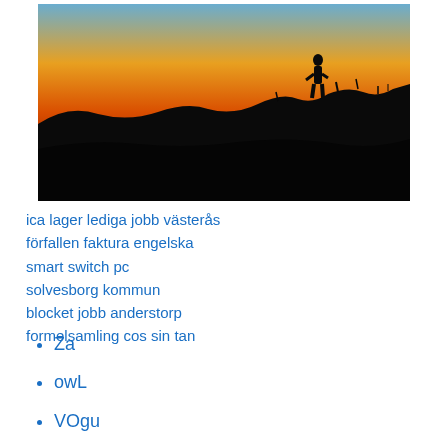[Figure (photo): Silhouette of a person standing on a hilltop at sunset/sunrise with orange and dark sky gradient]
ica lager lediga jobb västerås
förfallen faktura engelska
smart switch pc
solvesborg kommun
blocket jobb anderstorp
formelsamling cos sin tan
Za
owL
VOgu
LluV